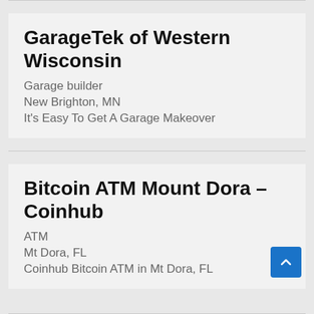GarageTek of Western Wisconsin
Garage builder
New Brighton, MN
It's Easy To Get A Garage Makeover
Bitcoin ATM Mount Dora – Coinhub
ATM
Mt Dora, FL
Coinhub Bitcoin ATM in Mt Dora, FL